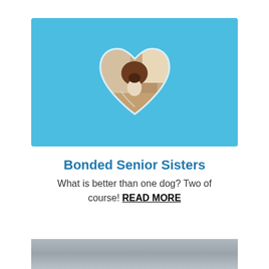[Figure (photo): Light blue banner with a heart-shaped photo cutout showing a brown boxer dog sitting indoors near stairs, on a rug.]
Bonded Senior Sisters
What is better than one dog? Two of course! READ MORE
[Figure (photo): Bottom portion of a photo showing what appears to be an interior room with gray/white walls.]